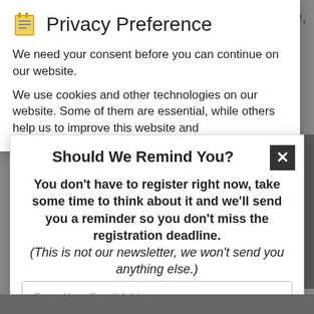The use of our website is, as a general rule, possible
Privacy Preference
We need your consent before you can continue on our website.
We use cookies and other technologies on our website. Some of them are essential, while others help us to improve this website and
Should We Remind You?
You don't have to register right now, take some time to think about it and we'll send you a reminder so you don't miss the registration deadline. (This is not our newsletter, we won't send you anything else.)
Enter Your Email Address
Set Reminder